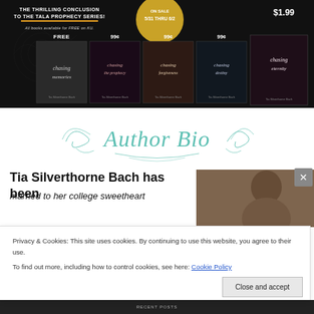[Figure (infographic): Dark background book promotion banner for the Tala Prophecy Series. Title text: 'The Thrilling Conclusion to the Tala Prophecy Series!' with gold underline. Text: 'All books available for FREE on KU.' Gold circle with 'ON SALE 5/31 THRU 6/2'. Price badge: '$1.99'. Five book covers shown: Chasing Memories (FREE), Chasing the Prophecy (99¢), Chasing Forgiveness (99¢), Chasing Eternity/Destiny (99¢), Chasing Eternity ($1.99). All by Tia Silverthorne Bach.]
[Figure (illustration): Decorative cursive script reading 'Author Bio' in teal/turquoise color with ornamental swirls and flourishes on white background.]
Tia Silverthorne Bach has been
married to her college sweetheart
[Figure (photo): Sepia-toned portrait photo of a woman, partially visible.]
Privacy & Cookies: This site uses cookies. By continuing to use this website, you agree to their use.
To find out more, including how to control cookies, see here: Cookie Policy
Close and accept